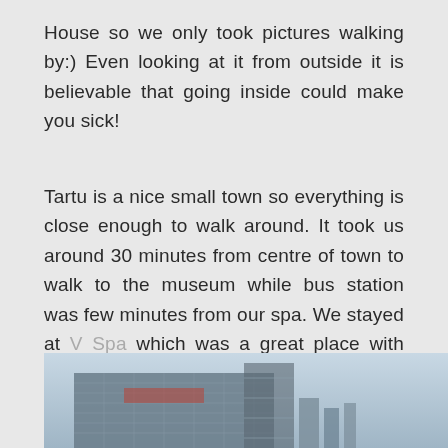House so we only took pictures walking by:) Even looking at it from outside it is believable that going inside could make you sick!
Tartu is a nice small town so everything is close enough to walk around. It took us around 30 minutes from centre of town to walk to the museum while bus station was few minutes from our spa. We stayed at V Spa which was a great place with many pools and saunas.
[Figure (photo): Partial photo of a modern building (likely V Spa) viewed from below against a grey sky, with scaffolding or construction visible]